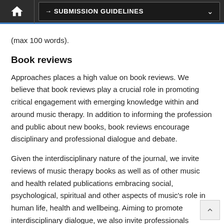→ SUBMISSION GUIDELINES
(max 100 words).
Book reviews
Approaches places a high value on book reviews. We believe that book reviews play a crucial role in promoting critical engagement with emerging knowledge within and around music therapy. In addition to informing the profession and public about new books, book reviews encourage disciplinary and professional dialogue and debate.
Given the interdisciplinary nature of the journal, we invite reviews of music therapy books as well as of other music and health related publications embracing social, psychological, spiritual and other aspects of music's role in human life, health and wellbeing. Aiming to promote interdisciplinary dialogue, we also invite professionals